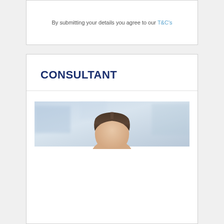By submitting your details you agree to our T&C's
CONSULTANT
[Figure (photo): Partial photo of a person with dark brown hair against a light blue blurred background, showing only the top of the head]